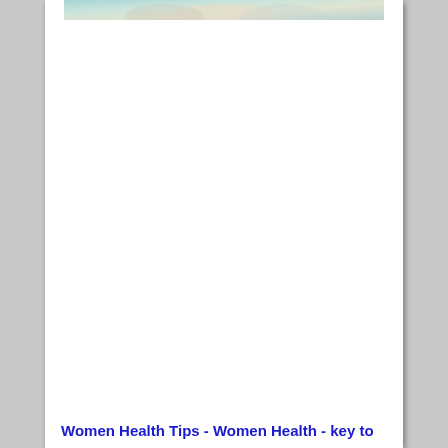[Figure (photo): Partial image of a woman at the top of the page, showing light tones with teal/green color palette, cropped at the top edge of the visible area.]
Women Health Tips  - Women Health - key to